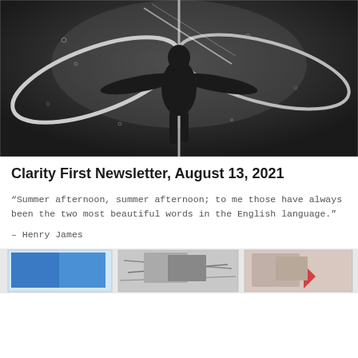[Figure (photo): Black and white photograph of a person underwater holding hula hoops, viewed from above, with light reflections and bubbles visible]
Clarity First Newsletter, August 13, 2021
“Summer afternoon, summer afternoon; to me those have always been the two most beautiful words in the English language.”
– Henry James
[Figure (photo): Partial view of a collage of technology/computer monitor images in color]